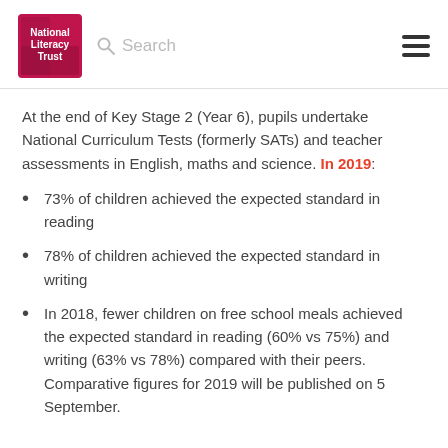National Literacy Trust | Search
At the end of Key Stage 2 (Year 6), pupils undertake National Curriculum Tests (formerly SATs) and teacher assessments in English, maths and science. In 2019:
73% of children achieved the expected standard in reading
78% of children achieved the expected standard in writing
In 2018, fewer children on free school meals achieved the expected standard in reading (60% vs 75%) and writing (63% vs 78%) compared with their peers. Comparative figures for 2019 will be published on 5 September.